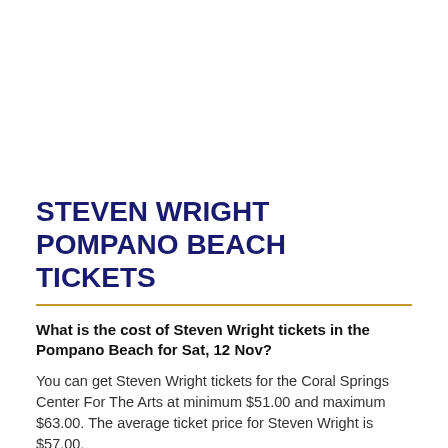STEVEN WRIGHT POMPANO BEACH TICKETS
What is the cost of Steven Wright tickets in the Pompano Beach for Sat, 12 Nov?
You can get Steven Wright tickets for the Coral Springs Center For The Arts at minimum $51.00 and maximum $63.00. The average ticket price for Steven Wright is $57.00.
What are the premium seats for the Steven Wright